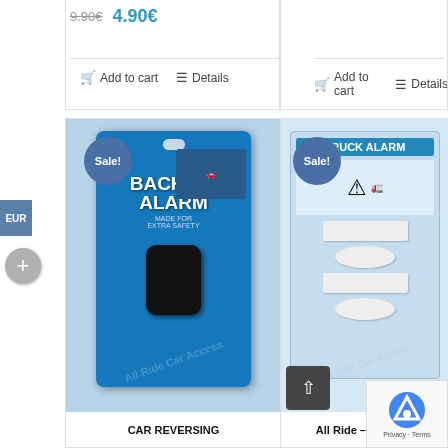9.90€  4.90€
Add to cart   Details
Add to cart   Details
[Figure (photo): Back-Up Alarm product in blue packaging with a black sensor device. Sale! badge visible. Product label reads BACK-UP ALARM MADE FOR EXTRA SAFETY.]
[Figure (photo): All Ride Wireless Truck Alarm product in light blue packaging showing white sensor components. Sale! badge visible.]
CAR REVERSING
All Ride – Wireless